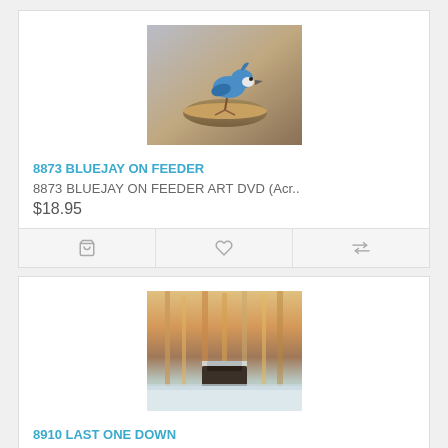[Figure (photo): Painting of a bluejay bird perched on a birdbath feeder bowl with branches in background]
8873 BLUEJAY ON FEEDER
8873 BLUEJAY ON FEEDER ART DVD (Acr..
$18.95
[Figure (photo): Painting of a snowy winter scene with a dark structure among tall warm-toned trees]
8910 LAST ONE DOWN
8910 LAST ONE DOWN ART DVD (Acrylic..
$18.95